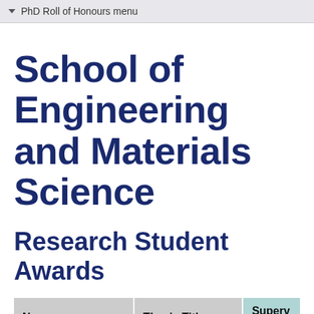PhD Roll of Honours menu
School of Engineering and Materials Science
Research Student Awards
| Name | Thesis Title | Superv… |
| --- | --- | --- |